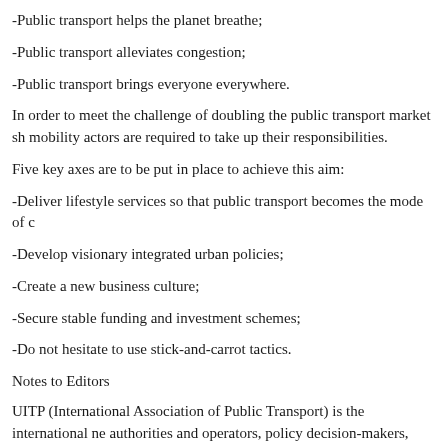-Public transport helps the planet breathe;
-Public transport alleviates congestion;
-Public transport brings everyone everywhere.
In order to meet the challenge of doubling the public transport market sh mobility actors are required to take up their responsibilities.
Five key axes are to be put in place to achieve this aim:
-Deliver lifestyle services so that public transport becomes the mode of c
-Develop visionary integrated urban policies;
-Create a new business culture;
-Secure stable funding and investment schemes;
-Do not hesitate to use stick-and-carrot tactics.
Notes to Editors
UITP (International Association of Public Transport) is the international ne authorities and operators, policy decision-makers, scientific institutes an and service industry. It is a platform for worldwide cooperation, business